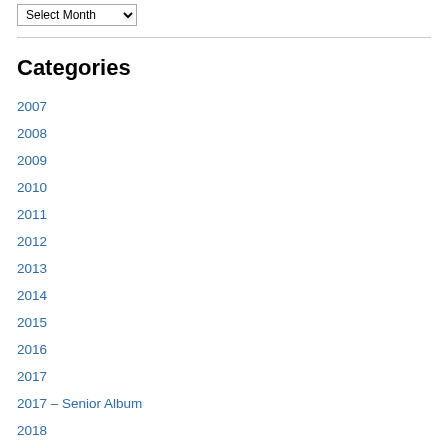[Figure (screenshot): Select Month dropdown widget at top of page]
Categories
2007
2008
2009
2010
2011
2012
2013
2014
2015
2016
2017
2017 – Senior Album
2018
2019
2020